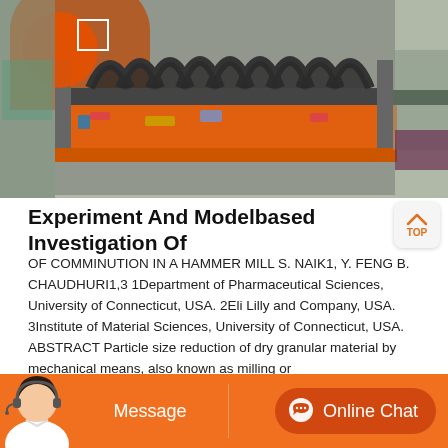[Figure (photo): Industrial machinery photo showing a hammer mill or similar large mechanical equipment with metal discs/paddles on a shaft, orange and grey metallic components, industrial factory setting.]
Experiment And Modelbased Investigation Of
OF COMMINUTION IN A HAMMER MILL S. NAIK1, Y. FENG B. CHAUDHURI1,3 1Department of Pharmaceutical Sciences, University of Connecticut, USA. 2Eli Lilly and Company, USA. 3Institute of Material Sciences, University of Connecticut, USA. ABSTRACT Particle size reduction of dry granular material by mechanical means, also known as milling or
[Figure (screenshot): Customer service chat bar with orange background, showing a female customer service avatar with headset on the left, a 'Message' button in the center-left area, and an 'Online Chat' button on the right with a chat bubble icon.]